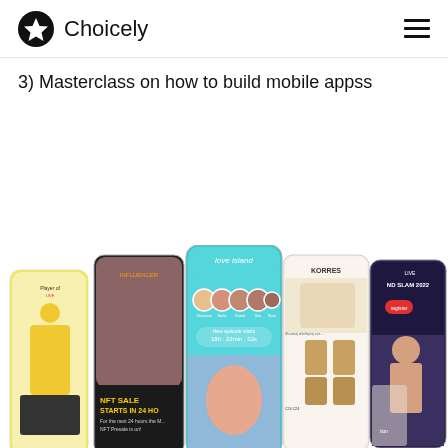Choicely
3) Masterclass on how to build mobile appss
[Figure (screenshot): Five mobile app screenshots displayed side by side showing various apps: a sports app with a football player, a fashion/NFT sale app, a Love Island dating app, a Korres beauty/cosmetics app, and a Grand Slam 2022 live sports app.]